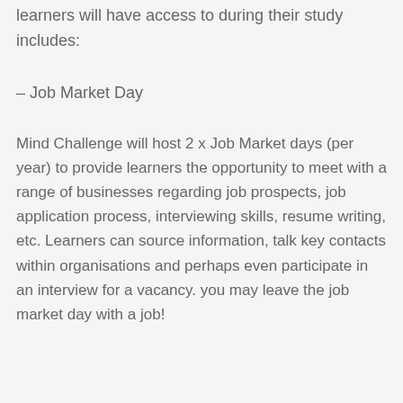learners will have access to during their study includes:
– Job Market Day
Mind Challenge will host 2 x Job Market days (per year) to provide learners the opportunity to meet with a range of businesses regarding job prospects, job application process, interviewing skills, resume writing, etc. Learners can source information, talk key contacts within organisations and perhaps even participate in an interview for a vacancy. you may leave the job market day with a job!